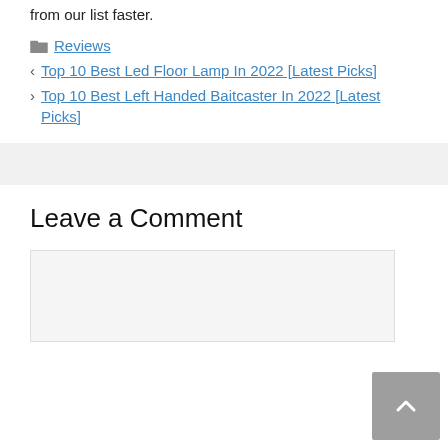from our list faster.
Reviews
Top 10 Best Led Floor Lamp In 2022 [Latest Picks]
Top 10 Best Left Handed Baitcaster In 2022 [Latest Picks]
Leave a Comment